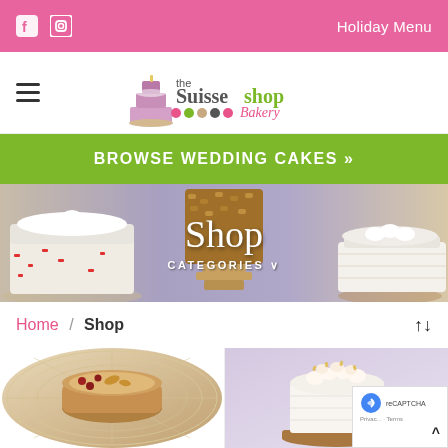f  [instagram]  Holiday Menu
[Figure (logo): The Suisse Shop Bakery logo with cake illustration and colorful dots]
BROWSE WEDDING CAKES »
[Figure (photo): Hero banner showing assorted decorated cakes on stands with text Shop and CATEGORIES dropdown]
Home / Shop
[Figure (photo): Left product: close-up of a dessert in a bowl or pan on a decorative plate]
[Figure (photo): Right product: white frosted cake with cream rosettes on a wooden cake stand]